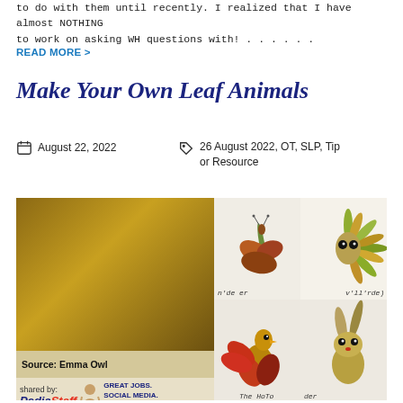to do with them until recently. I realized that I have almost NOTHING to work on asking WH questions with! . . . . . .
READ MORE >
Make Your Own Leaf Animals
August 22, 2022
26 August 2022, OT, SLP, Tip or Resource
[Figure (photo): Collage of leaf animals made from real autumn leaves arranged on white backgrounds, with handwritten labels. Left panel shows an olive/dark gold rectangle with a PediaStaff badge showing Source: Emma Owl. Right panels show four leaf animal creatures in a 2x2 grid — top left appears to be a grasshopper/dragonfly, top right a sunflower/owl-like figure with eyes, bottom left a rooster/bird with red leaves, bottom right a fox/rabbit-like figure with eyes. Labels include 'n'de er', 'v'll'rde)', 'The HoTo', 'der'.]